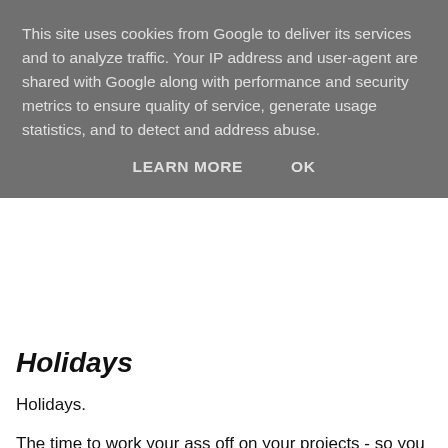This site uses cookies from Google to deliver its services and to analyze traffic. Your IP address and user-agent are shared with Google along with performance and security metrics to ensure quality of service, generate usage statistics, and to detect and address abuse.
LEARN MORE   OK
Holidays
Holidays.
The time to work your ass off on your projects - so you can finally make some decent progress on them. At least that's what it is for me right now. Oh, mind you, I am in the mean time getting more than enough relation, so don't worry.
However, I am currently working on YuGiOh Rebirth, but I have a lot of other projects going through my mind as well, projects that want to get out, that want to get worked on. The Website Project I mentioned last post is one of them and so is Prism. The website project really wants to get its first version online, even though a lot of work needs to be done